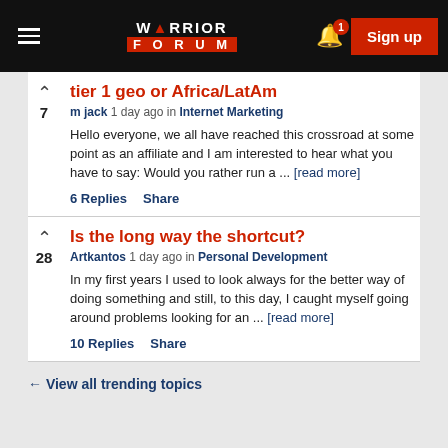Warrior Forum — Sign up
tier 1 geo or Africa/LatAm
m jack 1 day ago in Internet Marketing
Hello everyone, we all have reached this crossroad at some point as an affiliate and I am interested to hear what you have to say: Would you rather run a ... [read more]
6 Replies   Share
Is the long way the shortcut?
Artkantos 1 day ago in Personal Development
In my first years I used to look always for the better way of doing something and still, to this day, I caught myself going around problems looking for an ... [read more]
10 Replies   Share
← View all trending topics